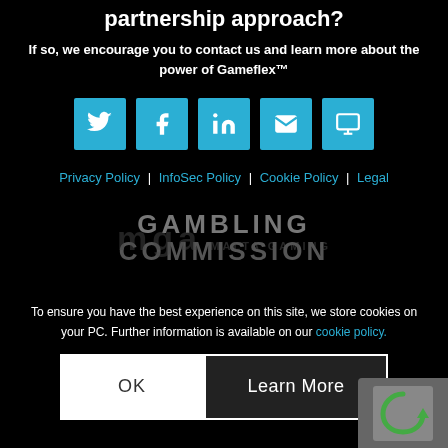partnership approach?
If so, we encourage you to contact us and learn more about the power of Gameflex™
[Figure (infographic): Five social media/contact icons in blue squares: Twitter, Facebook, LinkedIn, Email, Monitor/screen]
Privacy Policy | InfoSec Policy | Cookie Policy | Legal
[Figure (logo): Gambling Commission logo text in grey, with MGA Malta Gaming Authority watermark overlaid]
To ensure you have the best experience on this site, we store cookies on your PC. Further information is available on our cookie policy.
OK  Learn More